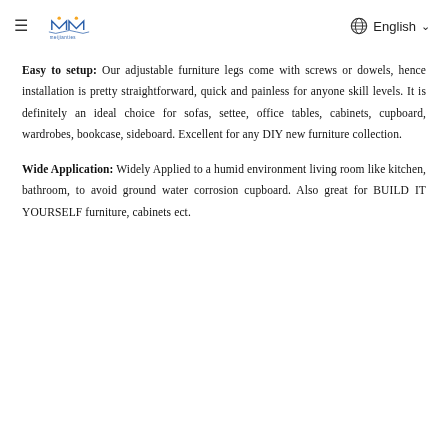≡ Meijianties | English
Easy to setup: Our adjustable furniture legs come with screws or dowels, hence installation is pretty straightforward, quick and painless for anyone skill levels. It is definitely an ideal choice for sofas, settee, office tables, cabinets, cupboard, wardrobes, bookcase, sideboard. Excellent for any DIY new furniture collection.
Wide Application: Widely Applied to a humid environment living room like kitchen, bathroom, to avoid ground water corrosion cupboard. Also great for BUILD IT YOURSELF furniture, cabinets ect.